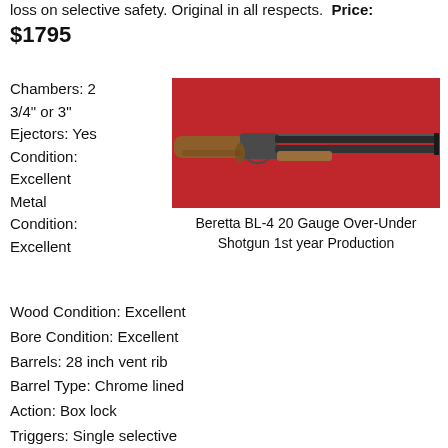loss on selective safety. Original in all respects. Price: $1795
Chambers: 2 3/4" or 3"
Ejectors: Yes
Condition: Excellent
Metal Condition: Excellent
[Figure (photo): Beretta BL-4 20 Gauge Over-Under Shotgun on red background]
Beretta BL-4 20 Gauge Over-Under Shotgun 1st year Production
Wood Condition: Excellent
Bore Condition: Excellent
Barrels: 28 inch vent rib
Barrel Type: Chrome lined
Action: Box lock
Triggers: Single selective
Stock: Round knob pistol grip
Butt Pad: Original buttplate